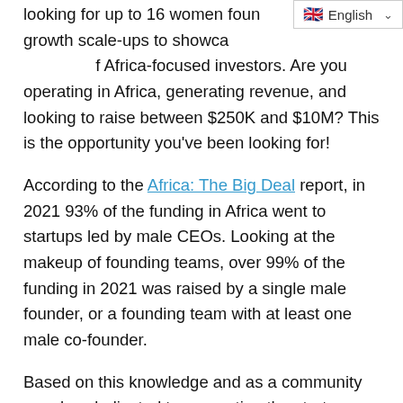[Figure (other): Language selector UI element showing English with UK flag and dropdown chevron]
looking for up to 16 women founders of high-growth scale-ups to showcase to the global network of Africa-focused investors. Are you operating in Africa, generating revenue, and looking to raise between $250K and $10M? This is the opportunity you've been looking for!
According to the Africa: The Big Deal report, in 2021 93% of the funding in Africa went to startups led by male CEOs. Looking at the makeup of founding teams, over 99% of the funding in 2021 was raised by a single male founder, or a founding team with at least one male co-founder.
Based on this knowledge and as a community member dedicated to supporting the startup ecosystem, VC4A now opens a call dedicated to women-led startups from across the African continent. If you are leading a fast growing startup with clear impact potential and you are in the process of scaling up your activities in the region, then apply